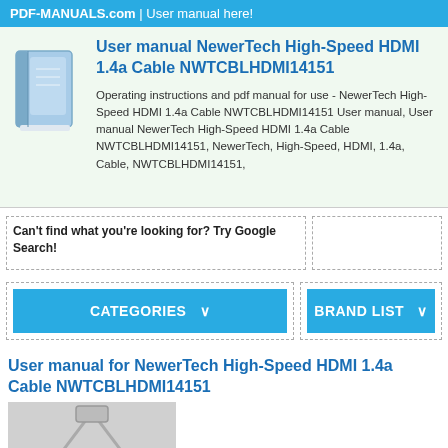PDF-MANUALS.com | User manual here!
User manual NewerTech High-Speed HDMI 1.4a Cable NWTCBLHDMI14151
Operating instructions and pdf manual for use - NewerTech High-Speed HDMI 1.4a Cable NWTCBLHDMI14151 User manual, User manual NewerTech High-Speed HDMI 1.4a Cable NWTCBLHDMI14151, NewerTech, High-Speed, HDMI, 1.4a, Cable, NWTCBLHDMI14151,
Can't find what you're looking for? Try Google Search!
CATEGORIES ∨
BRAND LIST ∨
User manual for NewerTech High-Speed HDMI 1.4a Cable NWTCBLHDMI14151
[Figure (illustration): Gray placeholder image showing a stylized HDMI cable connector icon]